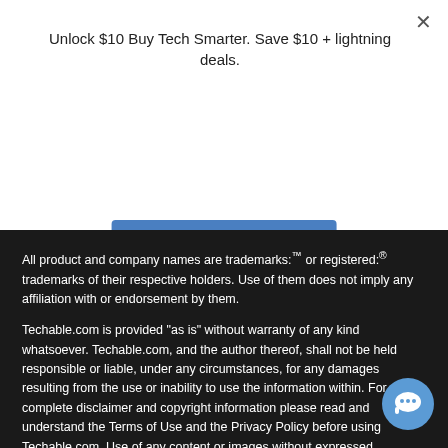Unlock $10 Buy Tech Smarter. Save $10 + lightning deals.
Sign Up Now
All product and company names are trademarks:™ or registered:® trademarks of their respective holders. Use of them does not imply any affiliation with or endorsement by them.
Techable.com is provided "as is" without warranty of any kind whatsoever. Techable.com, and the author thereof, shall not be held responsible or liable, under any circumstances, for any damages resulting from the use or inability to use the information within. For complete disclaimer and copyright information please read and understand the Terms of Use and the Privacy Policy before using Techable.com. Use of any content or images without expressed permission is not although links to any page are welcomed and apprecia